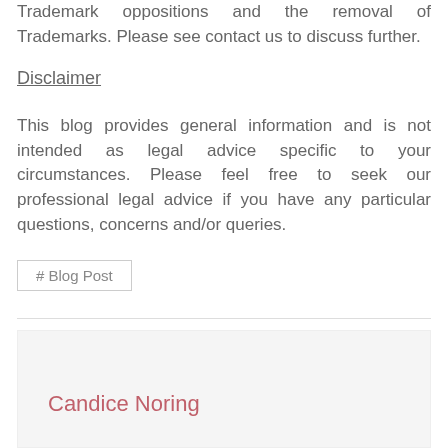Trademark oppositions and the removal of Trademarks. Please see contact us to discuss further.
Disclaimer
This blog provides general information and is not intended as legal advice specific to your circumstances. Please feel free to seek our professional legal advice if you have any particular questions, concerns and/or queries.
# Blog Post
Candice Noring